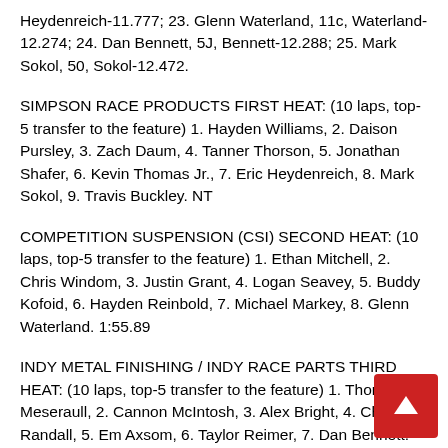Heydenreich-11.777; 23. Glenn Waterland, 11c, Waterland-12.274; 24. Dan Bennett, 5J, Bennett-12.288; 25. Mark Sokol, 50, Sokol-12.472.
SIMPSON RACE PRODUCTS FIRST HEAT: (10 laps, top-5 transfer to the feature) 1. Hayden Williams, 2. Daison Pursley, 3. Zach Daum, 4. Tanner Thorson, 5. Jonathan Shafer, 6. Kevin Thomas Jr., 7. Eric Heydenreich, 8. Mark Sokol, 9. Travis Buckley. NT
COMPETITION SUSPENSION (CSI) SECOND HEAT: (10 laps, top-5 transfer to the feature) 1. Ethan Mitchell, 2. Chris Windom, 3. Justin Grant, 4. Logan Seavey, 5. Buddy Kofoid, 6. Hayden Reinbold, 7. Michael Markey, 8. Glenn Waterland. 1:55.89
INDY METAL FINISHING / INDY RACE PARTS THIRD HEAT: (10 laps, top-5 transfer to the feature) 1. Thomas Meseraull, 2. Cannon McIntosh, 3. Alex Bright, 4. Chase Randall, 5. Em Axsom, 6. Taylor Reimer, 7. Dan Bennett. 1:54.72 (New Track